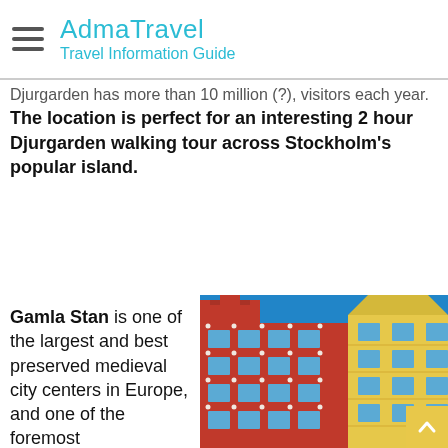AdmaTravel | Travel Information Guide
Djurgarden has more than 10 million (?), visitors each year. The location is perfect for an interesting 2 hour Djurgarden walking tour across Stockholm's popular island.
Gamla Stan is one of the largest and best preserved medieval city centers in Europe, and one of the foremost
[Figure (photo): Looking up at colorful historical building facades in Gamla Stan, Stockholm — a red building and yellow building with blue windows against a bright blue sky.]